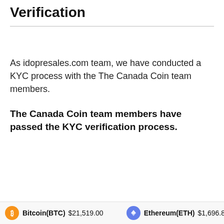Verification
As idopresales.com team, we have conducted a KYC process with the The Canada Coin team members.
The Canada Coin team members have passed the KYC verification process.
Bitcoin(BTC) $21,519.00   Ethereum(ETH) $1,696.80   Te...